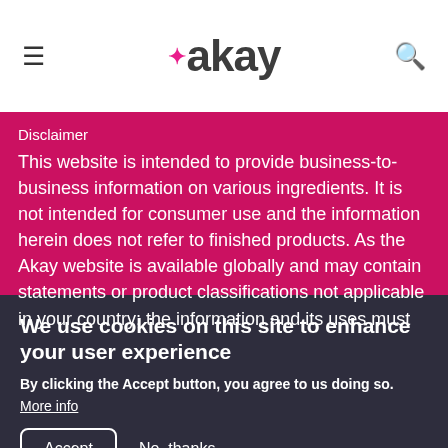≡ akay 🔍
Disclaimer
This website is intended to provide business-to-business information on various ingredients. It is not intended for consumer use and the information herein does not refer to finished products. As the Akay website is available globally and may contain statements or product classifications not applicable in your country; the information and its uses must
We use cookies on this site to enhance your user experience
By clicking the Accept button, you agree to us doing so.
More info
Accept   No, thanks